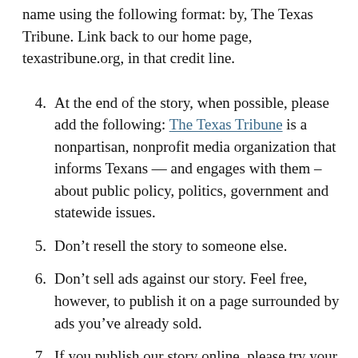name using the following format: by, The Texas Tribune. Link back to our home page, texastribune.org, in that credit line.
4. At the end of the story, when possible, please add the following: The Texas Tribune is a nonpartisan, nonprofit media organization that informs Texans — and engages with them – about public policy, politics, government and statewide issues.
5. Don’t resell the story to someone else.
6. Don’t sell ads against our story. Feel free, however, to publish it on a page surrounded by ads you’ve already sold.
7. If you publish our story online, please try your best to include all of our internal links and link to texastribune.org.
8. If you share the story on social media, the...